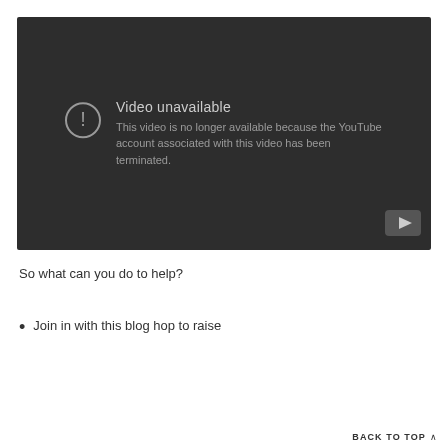[Figure (screenshot): Embedded YouTube video player showing an error: 'Video unavailable — This video is no longer available because the YouTube account associated with this video has been terminated.' Dark gray background with a circular exclamation icon and a YouTube play button in the bottom right corner.]
So what can you do to help?
Join in with this blog hop to raise
BACK TO TOP ^